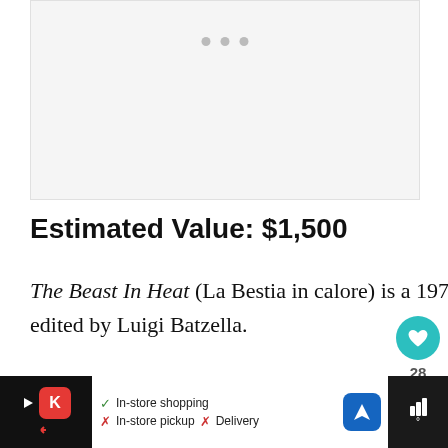[Figure (other): Image carousel placeholder with three navigation dots, light gray background]
Estimated Value: $1,500
The Beast In Heat (La Bestia in calore) is a 1977 Italian exploitation film, written, directed, and edited by Luigi Batzella.
[Figure (other): Bottom advertisement banner with Kroger app ad showing in-store shopping, in-store pickup, and delivery options with navigation icon]